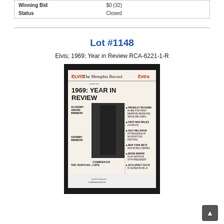| Winning Bid | $0 (32) |
| Status | Closed |
Lot #1148
Elvis; 1969: Year in Review RCA-6221-1-R
[Figure (photo): Photo of the Elvis 1969 Year in Review record sleeve, styled as a newspaper front page for 'The Memphis Record Extra' with the headline '1969: YEAR IN REVIEW' and various subheadings about events of 1969 including Woodstock, moon landing, New York Mets World Series, Nixon, and Jets Super Bowl. Features a black-and-white image of Elvis performing.]